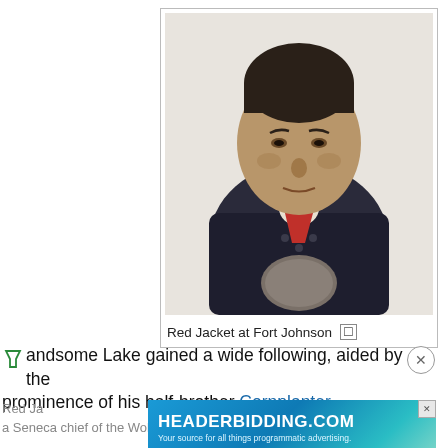[Figure (photo): Portrait painting of Red Jacket, a Seneca chief, wearing a dark coat with large oval medallion on chest and red neckwear, depicted from shoulders up.]
Red Jacket at Fort Johnson
Handsome Lake gained a wide following, aided by the prominence of his half-brother Cornplanter.
[Figure (other): Advertisement banner for HEADERBIDDING.COM — 'Your source for all things programmatic advertising.']
Red Jacket (also known as Sagoyewatha) was a Seneca chief of the Wolf clan, and orator. He was born